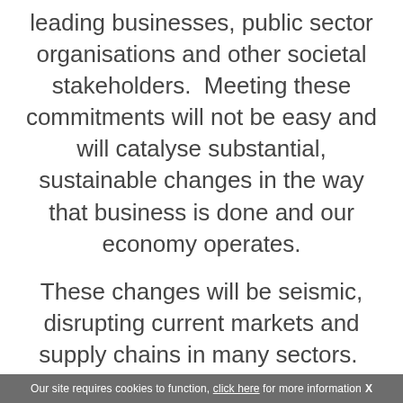leading businesses, public sector organisations and other societal stakeholders.  Meeting these commitments will not be easy and will catalyse substantial, sustainable changes in the way that business is done and our economy operates.
These changes will be seismic, disrupting current markets and supply chains in many sectors.  This major shift in our way of life will bring significant new challenges and opportunities . All UK organisations
Our site requires cookies to function, click here for more information X